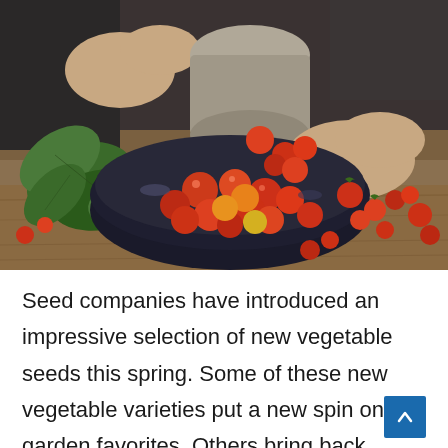[Figure (photo): Hands pouring cherry tomatoes from a ceramic cup into a dark bowl, with green leafy vegetables, on a rustic wooden table. Some tomatoes are scattered on the table.]
Seed companies have introduced an impressive selection of new vegetable seeds this spring. Some of these new vegetable varieties put a new spin on garden favorites. Others bring back heirloom